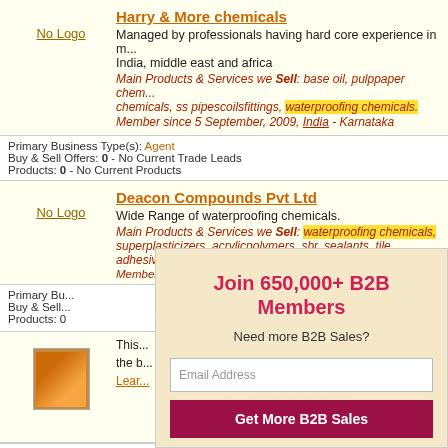Harry & More chemicals
Managed by professionals having hard core experience in m... India, middle east and africa
Main Products & Services we Sell: base oil, pulppaper chem... chemicals, ss pipescoilsfittings, waterproofing chemicals.
Member since 5 September, 2009, India - Karnataka
Primary Business Type(s): Agent
Buy & Sell Offers: 0 - No Current Trade Leads
Products: 0 - No Current Products
Deacon Compounds Pvt Ltd
Wide Range of waterproofing chemicals.
Main Products & Services we Sell: waterproofing chemicals, superplasticizers, acrylicpolymers, sbr, sealants, tile adhesiv...
Member since 3 December 2007, India - Maharashtra
Primary Bu...
Buy & Sell...
Products: 0
Join 650,000+ B2B Members
Need more B2B Sales?
Email Address
Get More B2B Sales